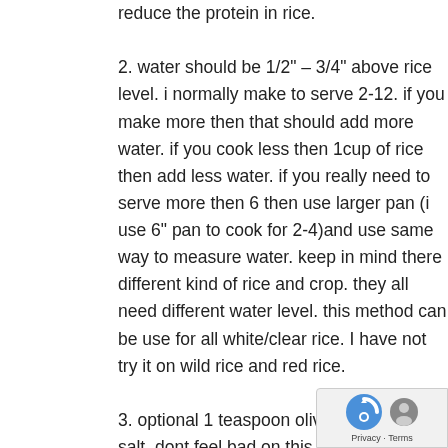reduce the protein in rice.
2. water should be 1/2" – 3/4" above rice level. i normally make to serve 2-12. if you make more then that should add more water. if you cook less then 1cup of rice then add less water. if you really need to serve more then 6 then use larger pan (i use 6" pan to cook for 2-4)and use same way to measure water. keep in mind there different kind of rice and crop. they all need different water level. this method can be use for all white/clear rice. I have not try it on wild rice and red rice.
3. optional 1 teaspoon olive oil and little of salt. dont feel bad on this as matter of fact I got from person that sale steam rice many you may decrease the amount but don